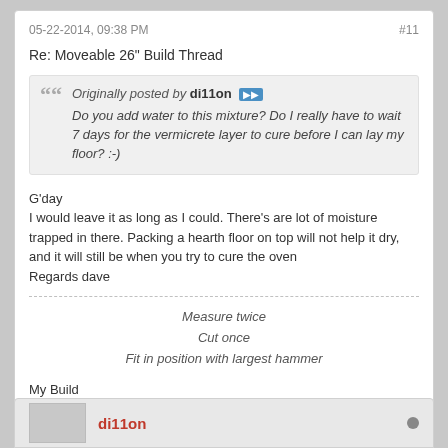05-22-2014, 09:38 PM    #11
Re: Moveable 26" Build Thread
Originally posted by di11on
Do you add water to this mixture? Do I really have to wait 7 days for the vermicrete layer to cure before I can lay my floor? :-)
G'day
I would leave it as long as I could. There's are lot of moisture trapped in there. Packing a hearth floor on top will not help it dry, and it will still be when you try to cure the oven
Regards dave
Measure twice
Cut once
Fit in position with largest hammer
My Build
http://www.fornobravo.com/forum/f51/...ild-14444.html
My Door
http://www.fornobravo.com/forum/f28/...ock-17190.html
di11on